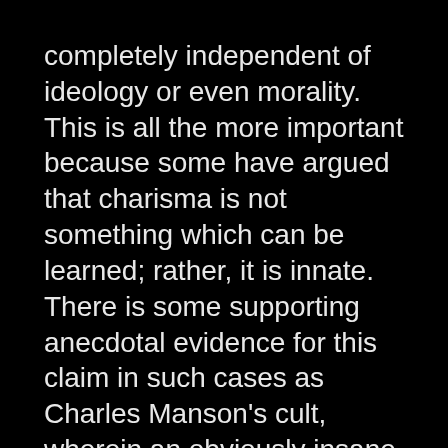completely independent of ideology or even morality. This is all the more important because some have argued that charisma is not something which can be learned; rather, it is innate. There is some supporting anecdotal evidence for this claim in such cases as Charles Manson's cult, wherein an obviously insane individual was nonetheless able to use charisma to control his followers.

The best case I can think of for charisma being learned is probably Ronald